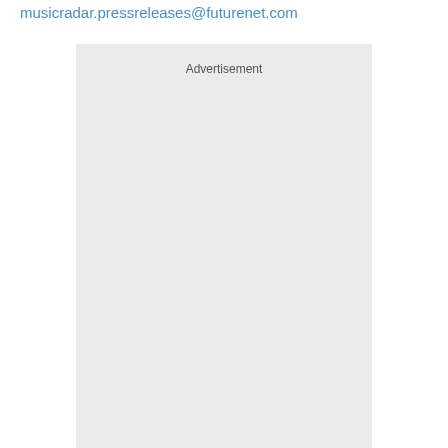musicradar.pressreleases@futurenet.com
[Figure (other): Advertisement placeholder box with light grey background and 'Advertisement' label at top center]